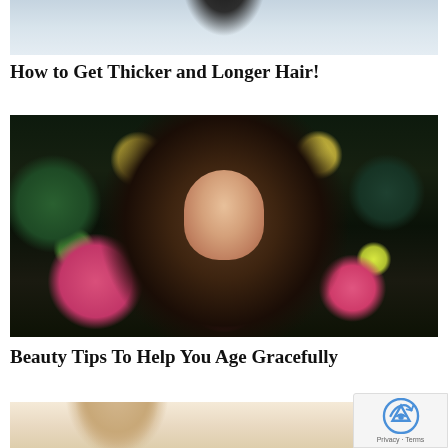[Figure (photo): Top portion of a person with dark hair wearing a white shirt, cropped to show only hair and shoulders]
How to Get Thicker and Longer Hair!
[Figure (photo): Woman with large natural curly afro hair, wearing a pink top, surrounded by colorful balloons, looking surprised at camera]
Beauty Tips To Help You Age Gracefully
[Figure (photo): Bottom portion of a person with blonde hair, partially visible]